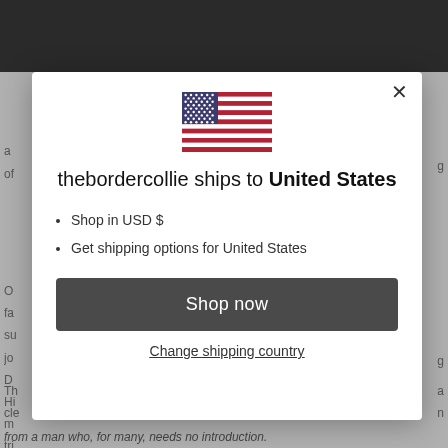[Figure (screenshot): Website modal popup on thebordercollie.com showing shipping destination to United States with US flag, bullet points for USD and shipping options, a 'Shop now' button and a 'Change shipping country' link.]
thebordercollie ships to United States
Shop in USD $
Get shipping options for United States
Shop now
Change shipping country